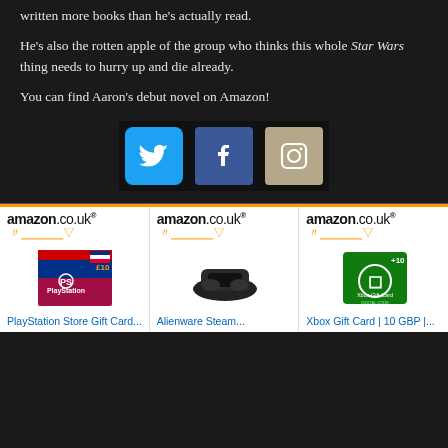written more books than he's actually read.
He's also the rotten apple of the group who thinks this whole Star Wars thing needs to hurry up and die already.
You can find Aaron's debut novel on Amazon!
[Figure (infographic): Three social media icons in a row: Twitter (blue bird), Facebook (blue f), Instagram (grey camera)]
[Figure (infographic): Three Amazon.co.uk product listings side by side: PlayStation Store Gift Card, Alienware Steam device, Xbox Gift Card 10 GBP]